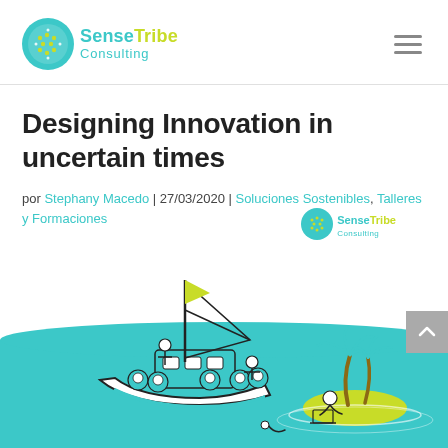SenseTribe Consulting
Designing Innovation in uncertain times
por Stephany Macedo | 27/03/2020 | Soluciones Sostenibles, Talleres y Formaciones
[Figure (illustration): Illustration of a boat with people on it and a small tropical island with a person working on a laptop, with teal water background. SenseTribe Consulting logo watermark visible.]